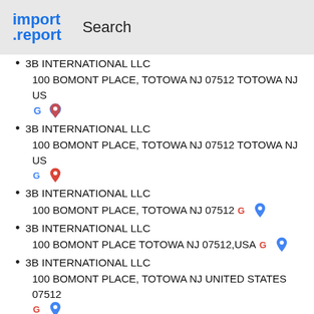import.report  Search
3B INTERNATIONAL LLC
100 BOMONT PLACE, TOTOWA NJ 07512 TOTOWA NJ US
3B INTERNATIONAL LLC
100 BOMONT PLACE, TOTOWA NJ 07512 TOTOWA NJ US
3B INTERNATIONAL LLC
100 BOMONT PLACE, TOTOWA NJ 07512
3B INTERNATIONAL LLC
100 BOMONT PLACE TOTOWA NJ 07512,USA
3B INTERNATIONAL LLC
100 BOMONT PLACE, TOTOWA NJ UNITED STATES 07512
3B INTERNATIONAL LLC
100 BOMONT PLACE, TOTOWA, NJ07512 TOTOWA US
3B INTERNATIONAL LLC
100 BOMONT PLACE, TOTOWA NJ 07512